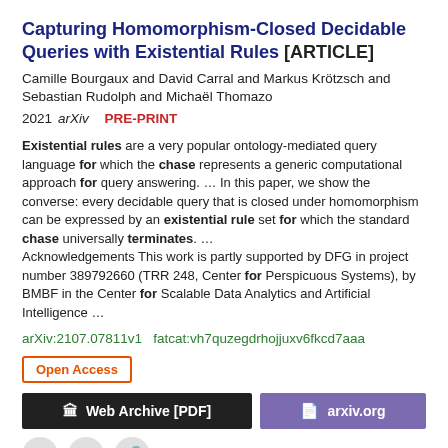Capturing Homomorphism-Closed Decidable Queries with Existential Rules [ARTICLE]
Camille Bourgaux and David Carral and Markus Krötzsch and Sebastian Rudolph and Michaël Thomazo
2021 arXiv  PRE-PRINT
Existential rules are a very popular ontology-mediated query language for which the chase represents a generic computational approach for query answering.  ...  In this paper, we show the converse: every decidable query that is closed under homomorphism can be expressed by an existential rule set for which the standard chase universally terminates.  ...  Acknowledgements This work is partly supported by DFG in project number 389792660 (TRR 248, Center for Perspicuous Systems), by BMBF in the Center for Scalable Data Analytics and Artificial Intelligence  ...
arXiv:2107.07811v1  fatcat:vh7quzegdrhojjuxv6fkcd7aaa
Open Access
Web Archive [PDF]
arxiv.org